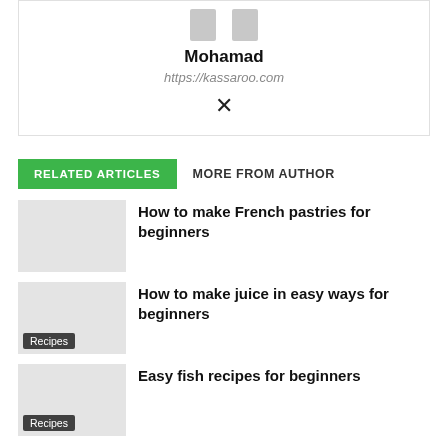Mohamad
https://kassaroo.com
RELATED ARTICLES   MORE FROM AUTHOR
How to make French pastries for beginners
Recipes
How to make juice in easy ways for beginners
Recipes
Easy fish recipes for beginners